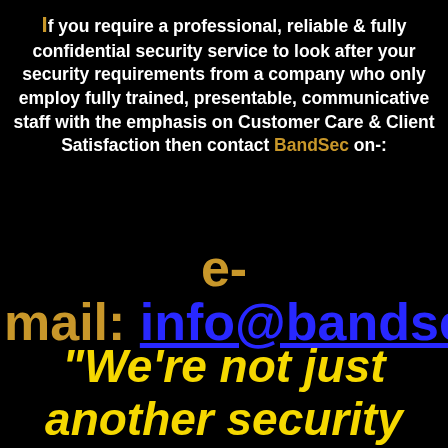If you require a professional, reliable & fully confidential security service to look after your security requirements from a company who only employ fully trained, presentable, communicative staff with the emphasis on Customer Care & Client Satisfaction then contact BandSec on-:
e-mail: info@bandsec.c
"We're not just another security